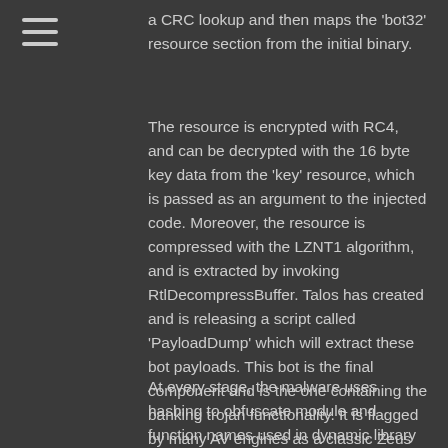a CRC lookup and then maps the 'bot32' resource section from the initial binary.
The resource is encrypted with RC4, and can be decrypted with the 16 byte key data from the 'key' resource, which is passed as an argument to the injected code. Moreover, the resource is compressed with the LZNT1 algorithm, and is extracted by invoking RtlDecompressBuffer. Talos has created and is releasing a script called 'PayloadDump' which will extract these bot payloads. This bot is the final component and is the one containing the banking trojan functionality. It is flagged by many AV engines as a classic Zeus bot. The bot is loaded and injected into 'explorer.exe'. These steps are the labeled 3 and 4 in Figure 1.
At every stage, the malware uses hashing to obfuscate module and function names used in dynamic library resolution. Interestingly, the initial